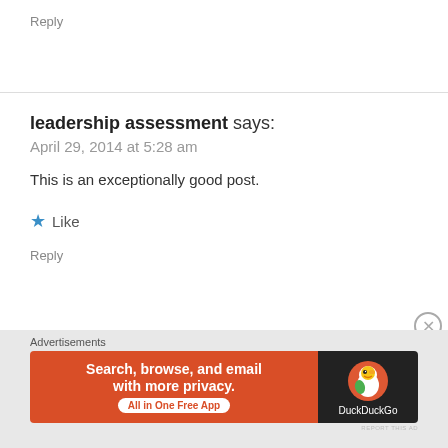Reply
leadership assessment says:
April 29, 2014 at 5:28 am
This is an exceptionally good post.
★ Like
Reply
REPORT THIS AD
Advertisements
[Figure (screenshot): DuckDuckGo advertisement banner: orange left panel with text 'Search, browse, and email with more privacy. All in One Free App' and dark right panel with DuckDuckGo duck logo and brand name.]